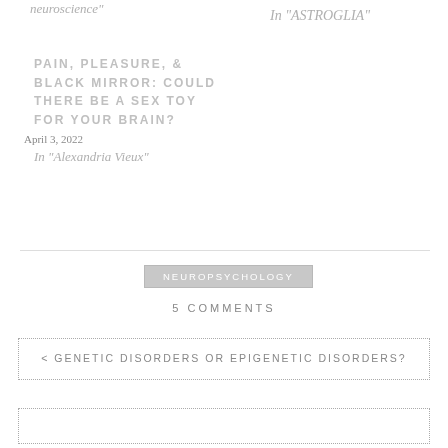neuroscience"
In "ASTROGLIA"
PAIN, PLEASURE, & BLACK MIRROR: COULD THERE BE A SEX TOY FOR YOUR BRAIN?
April 3, 2022
In "Alexandria Vieux"
NEUROPSYCHOLOGY
5 COMMENTS
< GENETIC DISORDERS OR EPIGENETIC DISORDERS?